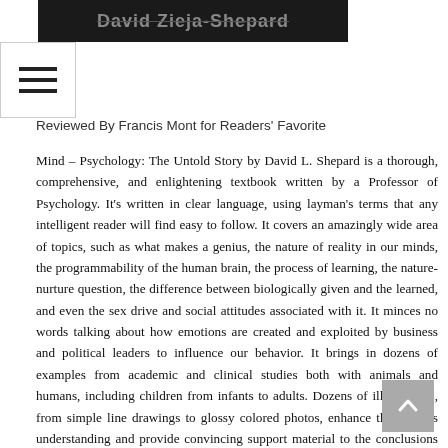[Figure (photo): Dark banner image with author name 'David Zieja-Shepard' in bold text]
Reviewed By Francis Mont for Readers' Favorite
Mind – Psychology: The Untold Story by David L. Shepard is a thorough, comprehensive, and enlightening textbook written by a Professor of Psychology. It's written in clear language, using layman's terms that any intelligent reader will find easy to follow. It covers an amazingly wide area of topics, such as what makes a genius, the nature of reality in our minds, the programmability of the human brain, the process of learning, the nature-nurture question, the difference between biologically given and the learned, and even the sex drive and social attitudes associated with it. It minces no words talking about how emotions are created and exploited by business and political leaders to influence our behavior. It brings in dozens of examples from academic and clinical studies both with animals and humans, including children from infants to adults. Dozens of illustrations, from simple line drawings to glossy colored photos, enhance the reader's understanding and provide convincing support material to the conclusions that Shepard presents.
I found David Shepard's Mind – Psychology: The Untold Story the perfect companion to Dr. Swaab's We Are Our Brains that I previously